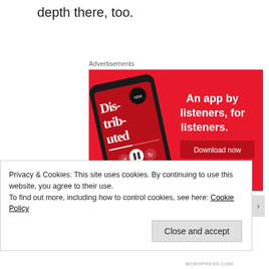depth there, too.
Advertisements
[Figure (screenshot): Red advertisement banner for a podcast app showing a smartphone with 'Distributed' podcast playing, headline 'An app by listeners, for listeners.' and a 'Download now' button]
Privacy & Cookies: This site uses cookies. By continuing to use this website, you agree to their use.
To find out more, including how to control cookies, see here: Cookie Policy